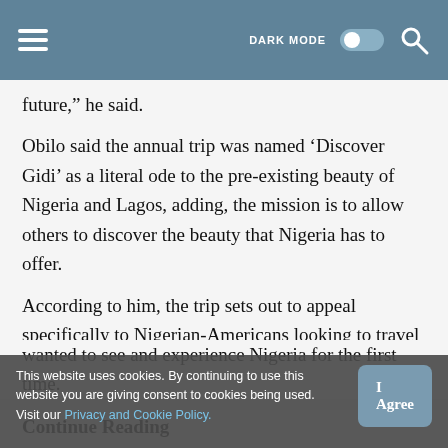DARK MODE  [toggle]  [search]
future,” he said.
Obilo said the annual trip was named ‘Discover Gidi’ as a literal ode to the pre-existing beauty of Nigeria and Lagos, adding, the mission is to allow others to discover the beauty that Nigeria has to offer.
According to him, the trip sets out to appeal specifically to Nigerian-Americans looking to travel home in a curated group-trip format.
HR said there had been an influx of non-Nigerians particularly, millennials of different backgrounds, who wanted to see and experience Nigeria for the first time.
Continue Reading
This website uses cookies. By continuing to use this website you are giving consent to cookies being used. Visit our Privacy and Cookie Policy.